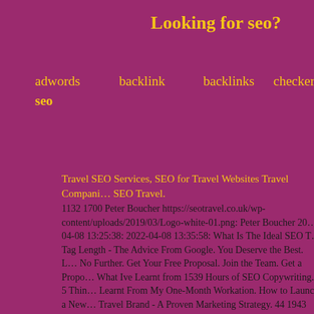Looking for seo?
adwords   backlink   backlinks   checker   engine seo
Travel SEO Services, SEO for Travel Websites Travel Companies SEO Travel.
1132 1700 Peter Boucher https://seotravel.co.uk/wp-content/uploads/2019/03/Logo-white-01.png: Peter Boucher 2022-04-08 13:25:38: 2022-04-08 13:35:58: What Is The Ideal SEO Tag Length - The Advice From Google. You Deserve the Best. Look No Further. Get Your Free Proposal. Join the Team. Get a Proposal. What Ive Learnt from 1539 Hours of SEO Copywriting. 5 Things Ive Learnt From My One-Month Workation. How to Launch a New Travel Brand - A Proven Marketing Strategy. 44 1943 603159 SEO Travel. 1 Lower Railway Road, Ilkley West Yorkshire, LS29 8F SEO Travel is a trading name of Rombald Group Ltd Registered in the UK, Company Number8417732, VAT Number173519302.